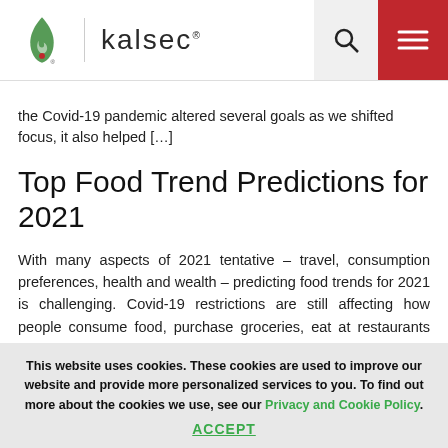kalsec
the Covid-19 pandemic altered several goals as we shifted focus, it also helped […]
Top Food Trend Predictions for 2021
With many aspects of 2021 tentative – travel, consumption preferences, health and wealth – predicting food trends for 2021 is challenging. Covid-19 restrictions are still affecting how people consume food, purchase groceries, eat at restaurants and interact with quick-service restaurants in 2021. Kalsec global market research experts are predicting six trends that we expect to […]
This website uses cookies. These cookies are used to improve our website and provide more personalized services to you. To find out more about the cookies we use, see our Privacy and Cookie Policy. ACCEPT